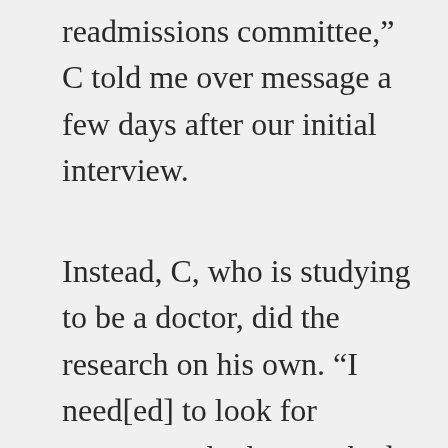readmissions committee,” C told me over message a few days after our initial interview.
Instead, C, who is studying to be a doctor, did the research on his own. “I need[ed] to look for someone who has worked with someone of my identity, I